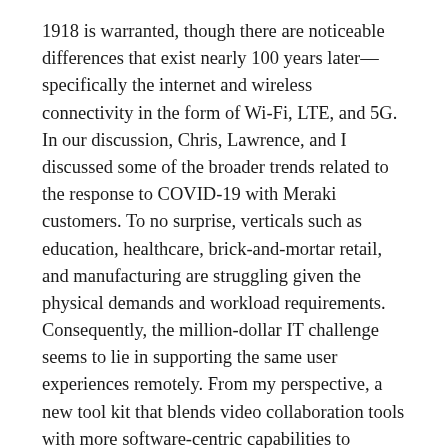1918 is warranted, though there are noticeable differences that exist nearly 100 years later—specifically the internet and wireless connectivity in the form of Wi-Fi, LTE, and 5G. In our discussion, Chris, Lawrence, and I discussed some of the broader trends related to the response to COVID-19 with Meraki customers. To no surprise, verticals such as education, healthcare, brick-and-mortar retail, and manufacturing are struggling given the physical demands and workload requirements. Consequently, the million-dollar IT challenge seems to lie in supporting the same user experiences remotely. From my perspective, a new tool kit that blends video collaboration tools with more software-centric capabilities to deliver network automation for higher predictability and security for business-critical applications is critical.
The work from home IT tool kit